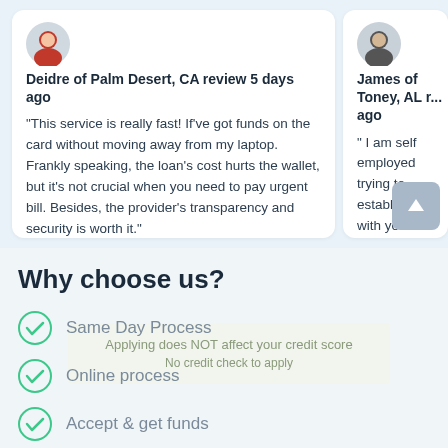[Figure (photo): Circular avatar photo of Deidre, woman with red/brown hair]
Deidre of Palm Desert, CA review 5 days ago
"This service is really fast! If've got funds on the card without moving away from my laptop. Frankly speaking, the loan's cost hurts the wallet, but it's not crucial when you need to pay urgent bill. Besides, the provider's transparency and security is worth it."
[Figure (photo): Circular avatar photo of James, man with dark hair]
James of Toney, AL ... ago
" I am self employed trying to establish a with you so when th incidents that actua between pay period a place I could go to which my employees week ($2000). I went
Why choose us?
Same Day Process
Online process
Accept & get funds
Applying does NOT affect your credit score
No credit check to apply